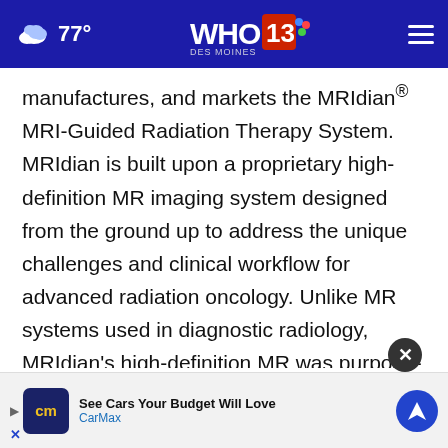77° WHO 13 DES MOINES NBC
manufactures, and markets the MRIdian® MRI-Guided Radiation Therapy System. MRIdian is built upon a proprietary high-definition MR imaging system designed from the ground up to address the unique challenges and clinical workflow for advanced radiation oncology. Unlike MR systems used in diagnostic radiology, MRIdian's high-definition MR was purpose-built to address specific challenges, including beam disto[rtion] that potentially may arise when high magnetic fields
[Figure (screenshot): CarMax advertisement banner at bottom of page: 'See Cars Your Budget Will Love' with CarMax logo and navigation icon, with close (X) button overlapping the text above]